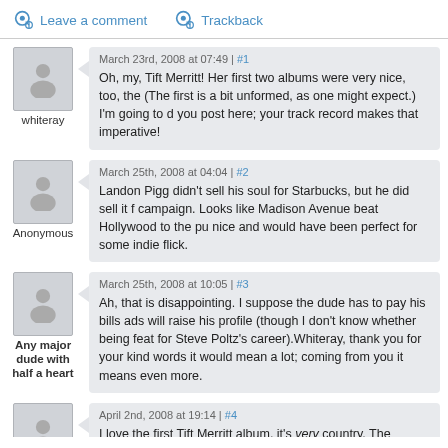Leave a comment  Trackback
March 23rd, 2008 at 07:49 | #1
Oh, my, Tift Merritt! Her first two albums were very nice, too, the (The first is a bit unformed, as one might expect.) I'm going to d you post here; your track record makes that imperative!
March 25th, 2008 at 04:04 | #2
Landon Pigg didn't sell his soul for Starbucks, but he did sell it f campaign. Looks like Madison Avenue beat Hollywood to the pu nice and would have been perfect for some indie flick.
March 25th, 2008 at 10:05 | #3
Ah, that is disappointing. I suppose the dude has to pay his bills ads will raise his profile (though I don't know whether being feat for Steve Poltz's career).Whiteray, thank you for your kind words it would mean a lot; coming from you it means even more.
April 2nd, 2008 at 19:14 | #4
I love the first Tift Merritt album, it's very country. The second we taken me years to like because I basically wanted it to be just...